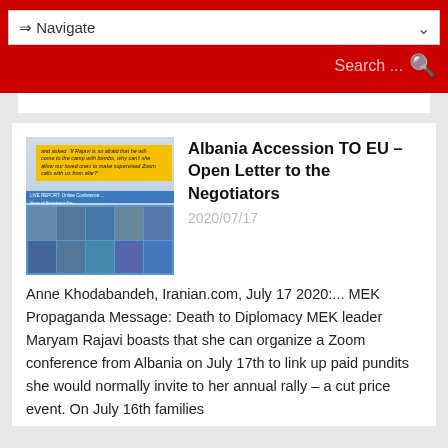⇒ Navigate
Search ...
Albania Accession TO EU – Open Letter to the Negotiators
2020/07/17
[Figure (screenshot): Screenshot of a webpage showing a Zoom conference live report with a yellow banner quote overlay]
Anne Khodabandeh, Iranian.com, July 17 2020:... MEK Propaganda Message: Death to Diplomacy MEK leader Maryam Rajavi boasts that she can organize a Zoom conference from Albania on July 17th to link up paid pundits she would normally invite to her annual rally – a cut price event. On July 16th families